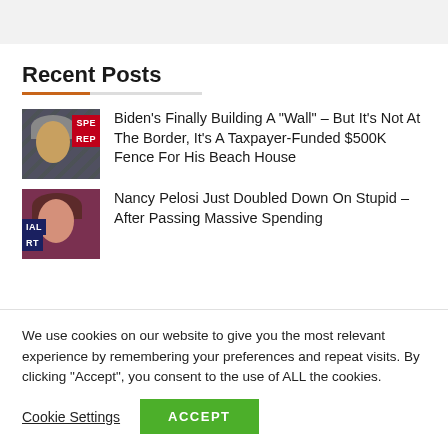Recent Posts
[Figure (photo): Thumbnail image of Biden with money background and SPE REP label]
Biden’s Finally Building A “Wall” – But It’s Not At The Border, It’s A Taxpayer-Funded $500K Fence For His Beach House
[Figure (photo): Thumbnail image of Nancy Pelosi with IAL RT label]
Nancy Pelosi Just Doubled Down On Stupid – After Passing Massive Spending
We use cookies on our website to give you the most relevant experience by remembering your preferences and repeat visits. By clicking “Accept”, you consent to the use of ALL the cookies.
Cookie Settings
ACCEPT